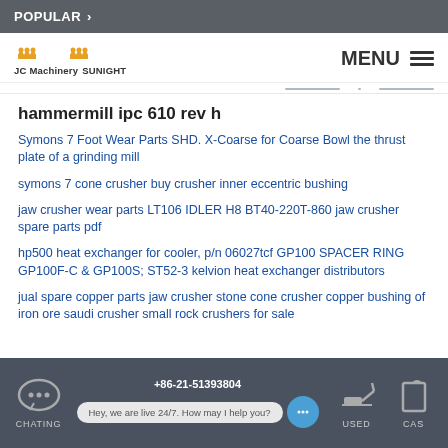POPULAR >
[Figure (logo): JC Machinery SUNIGHT logo with gear icons]
hammermill ipc 610 rev h
Symons 7 Foot Wear Parts SHD. X-Coarse for Coarse Bowl the thrust plate of a grinding mill
symons 7 cone crusher buy crusher inner eccentric bushing
jaw crusher wear parts LT106 IDLER H8 BT40-220T-860 jaw crusher spare parts pdf
hp500 heat exchanger for cooler, p/n 06027tcf GP100 SPACER RING GP100F-C & GP100S; ST52-3 kelvion heat exchanger distributors
jual spare copper parts jaw crusher stone cone crusher copper bushing of iron ore saudi crusher small rock crushers for sale
+86-21-51393804  CHATING  USED  Hey, we are live 24/7. How may I help you?